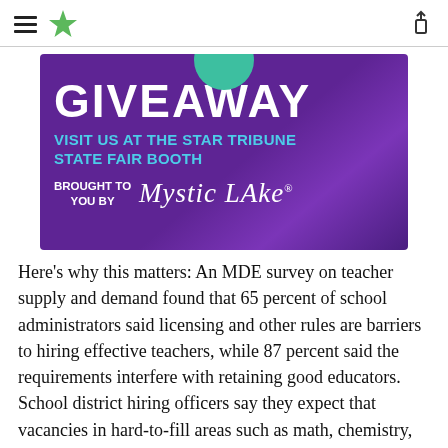Star Tribune navigation header with hamburger menu and share icon
[Figure (illustration): Purple advertisement banner: GIVEAWAY - VISIT US AT THE STAR TRIBUNE STATE FAIR BOOTH - BROUGHT TO YOU BY Mystic Lake]
Here’s why this matters: An MDE survey on teacher supply and demand found that 65 percent of school administrators said licensing and other rules are barriers to hiring effective teachers, while 87 percent said the requirements interfere with retaining good educators. School district hiring officers say they expect that vacancies in hard-to-fill areas such as math, chemistry, physical science and special education will only increase if the state fails to make licensure less complicated and less expensive.
As a result of that data, a group — and they report to the Office of the